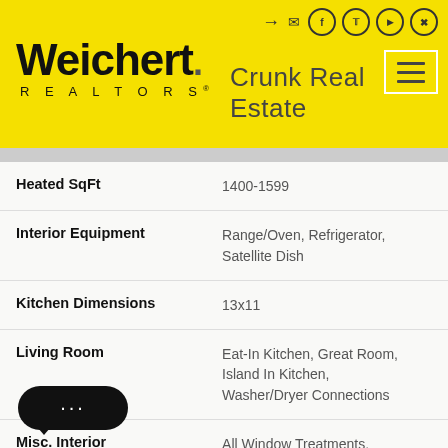[Figure (logo): Weichert Realtors logo on yellow background with Crunk Real Estate text and social media icons]
| Heated SqFt | 1400-1599 |
| Interior Equipment | Range/Oven, Refrigerator, Satellite Dish |
| Kitchen Dimensions | 13x11 |
| Living Room | Eat-In Kitchen, Great Room, Island In Kitchen, Washer/Dryer Connections |
| Misc. Interior | All Window Treatments, Security System, Smoke Detector(s), Vent Hood/Exhaust Fan |